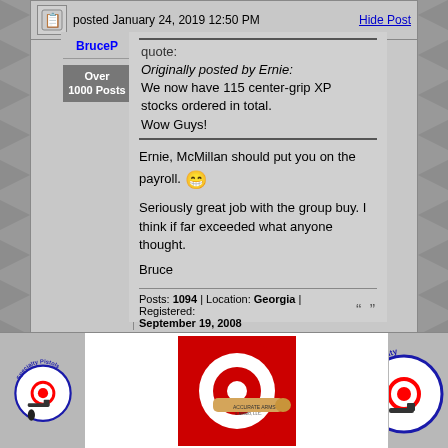BruceP  posted January 24, 2019 12:50 PM  Hide Post
Over 1000 Posts
quote:
Originally posted by Ernie:
We now have 115 center-grip XP stocks ordered in total.
Wow Guys!
Ernie, McMillan should put you on the payroll. 😁

Seriously great job with the group buy. I think if far exceeded what anyone thought.

Bruce
Posts: 1094 | Location: Georgia | Registered: September 19, 2008
[Figure (logo): Specialty Pistols circular logo]
[Figure (photo): Red and white target/bullseye with a bullet]
[Figure (logo): Specialty Pistols circular logo (partial)]